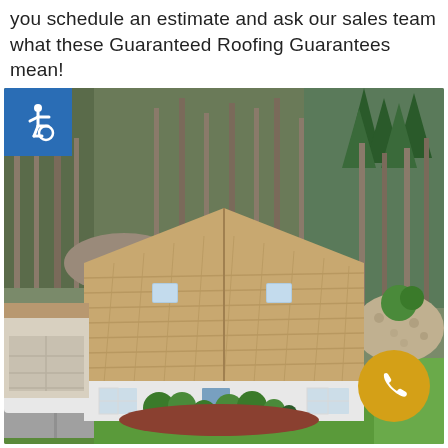you schedule an estimate and ask our sales team what these Guaranteed Roofing Guarantees mean!
[Figure (photo): Aerial drone photo of a house with brown/tan asphalt shingle roof viewed from above, surrounded by trees and lawn. The house has white siding, a blue front door, green shrubs in front, a driveway with a white vehicle on the left. A blue accessibility icon badge overlays the top-left corner and a gold/yellow phone icon badge overlays the bottom-right corner of the image.]